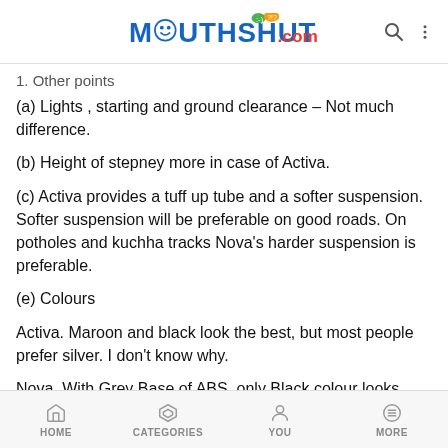MouthShut.com
1. Other points
(a) Lights , starting and ground clearance – Not much difference.
(b) Height of stepney more in case of Activa.
(c) Activa provides a tuff up tube and a softer suspension. Softer suspension will be preferable on good roads. On potholes and kuchha tracks Nova's harder suspension is preferable.
(e) Colours
Activa. Maroon and black look the best, but most people prefer silver. I don't know why.
Nova. With Grey Base of ABS, only Black colour looks
HOME   CATEGORIES   YOU   MORE